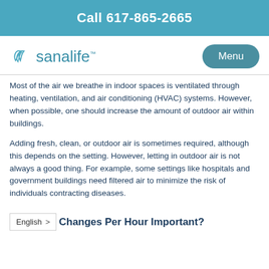Call 617-865-2665
[Figure (logo): Sanalife logo with leaf icon and text 'sanalife' with trademark symbol]
Most of the air we breathe in indoor spaces is ventilated through heating, ventilation, and air conditioning (HVAC) systems. However, when possible, one should increase the amount of outdoor air within buildings.
Adding fresh, clean, or outdoor air is sometimes required, although this depends on the setting. However, letting in outdoor air is not always a good thing. For example, some settings like hospitals and government buildings need filtered air to minimize the risk of individuals contracting diseases.
Changes Per Hour Important?